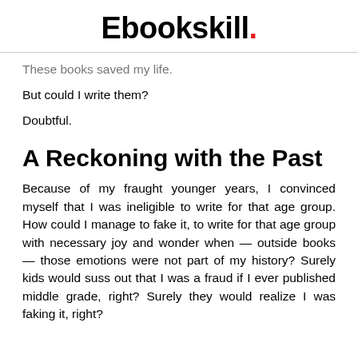Ebookskill.
These books saved my life.
But could I write them?
Doubtful.
A Reckoning with the Past
Because of my fraught younger years, I convinced myself that I was ineligible to write for that age group. How could I manage to fake it, to write for that age group with necessary joy and wonder when — outside books — those emotions were not part of my history? Surely kids would suss out that I was a fraud if I ever published middle grade, right? Surely they would realize I was faking it, right?